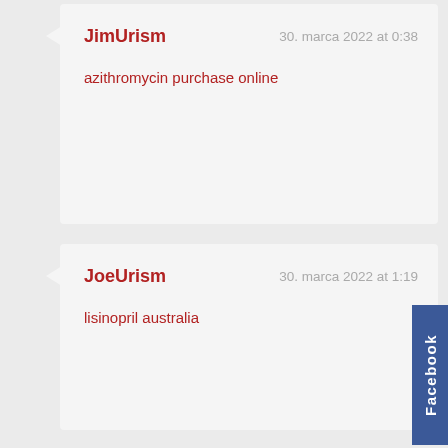JimUrism
30. marca 2022 at 0:38
azithromycin purchase online
JoeUrism
30. marca 2022 at 1:19
lisinopril australia
JasonUrism
30. marca 2022 at 2:41
feldene gel 112g